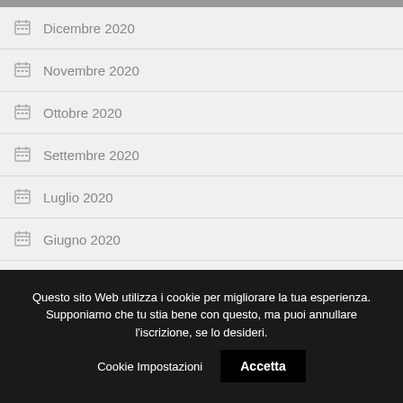Dicembre 2020
Novembre 2020
Ottobre 2020
Settembre 2020
Luglio 2020
Giugno 2020
Maggio 2020
Questo sito Web utilizza i cookie per migliorare la tua esperienza. Supponiamo che tu stia bene con questo, ma puoi annullare l'iscrizione, se lo desideri.
Cookie Impostazioni
Accetta